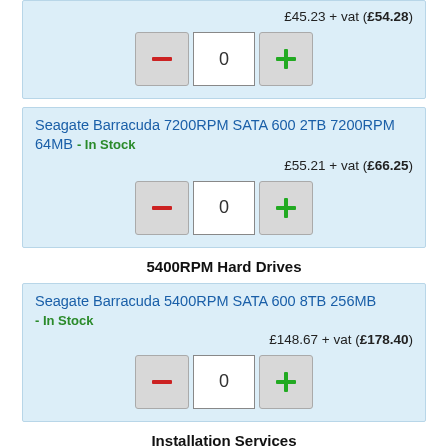£45.23 + vat (£54.28)
[Figure (screenshot): Quantity controls: minus button, 0 input, plus button]
Seagate Barracuda 7200RPM SATA 600 2TB 7200RPM 64MB - In Stock
£55.21 + vat (£66.25)
[Figure (screenshot): Quantity controls: minus button, 0 input, plus button]
5400RPM Hard Drives
Seagate Barracuda 5400RPM SATA 600 8TB 256MB - In Stock
£148.67 + vat (£178.40)
[Figure (screenshot): Quantity controls: minus button, 0 input, plus button]
Installation Services